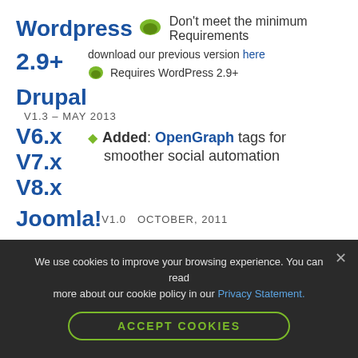Wordpress
Don't meet the minimum Requirements
2.9+
download our previous version here
Requires WordPress 2.9+
Drupal
V1.3 – MAY 2013
V6.x
V7.x
V8.x
Added: OpenGraph tags for smoother social automation
V1.0   OCTOBER, 2011
Joomla!
We use cookies to improve your browsing experience. You can read more about our cookie policy in our Privacy Statement.
ACCEPT COOKIES